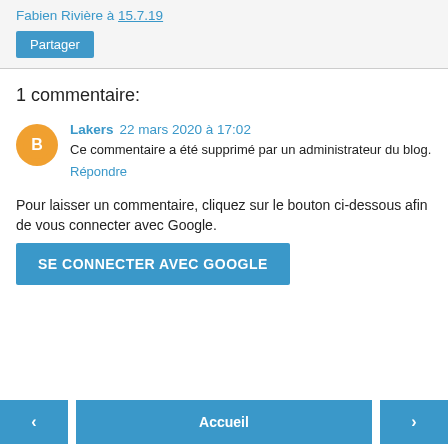Fabien Rivière à 15.7.19
Partager
1 commentaire:
Lakers 22 mars 2020 à 17:02
Ce commentaire a été supprimé par un administrateur du blog.
Répondre
Pour laisser un commentaire, cliquez sur le bouton ci-dessous afin de vous connecter avec Google.
SE CONNECTER AVEC GOOGLE
‹
Accueil
›